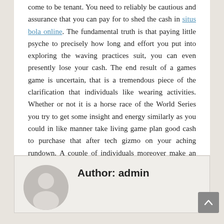come to be tenant. You need to reliably be cautious and assurance that you can pay for to shed the cash in situs bola online. The fundamental truth is that paying little psyche to precisely how long and effort you put into exploring the waving practices suit, you can even presently lose your cash. The end result of a games game is uncertain, that is a tremendous piece of the clarification that individuals like wearing activities. Whether or not it is a horse race of the World Series you try to get some insight and energy similarly as you could in like manner take living game plan good cash to purchase that after tech gizmo on your aching rundown. A couple of individuals moreover make an occupation out of sports gambling.
Author: admin
[Figure (illustration): Generic user avatar: grey circle with silhouette of a person (head and shoulders) in lighter grey]